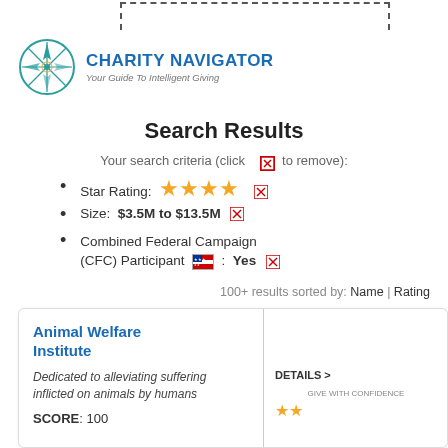[Figure (logo): Charity Navigator logo with compass rose and tagline 'Your Guide To Intelligent Giving']
Search Results
Your search criteria (click [x] to remove):
Star Rating: ★★★★ [x]
Size: $3.5M to $13.5M [x]
Combined Federal Campaign (CFC) Participant [flag] : Yes [x]
100+ results sorted by: Name | Rating
Animal Welfare Institute
Dedicated to alleviating suffering inflicted on animals by humans
SCORE: 100